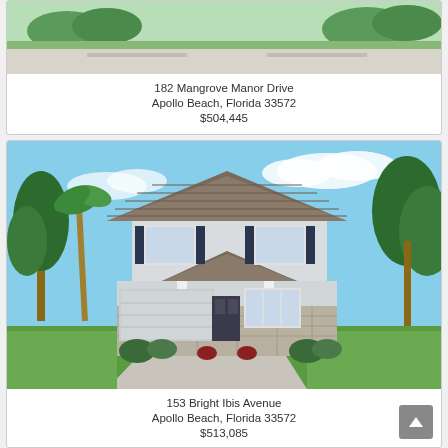[Figure (photo): Top portion of a house exterior rendering with driveway and landscaping, partially cropped]
182 Mangrove Manor Drive
Apollo Beach, Florida 33572
$504,445
[Figure (photo): Two-story house exterior rendering with gray stucco finish, dark shutters, stone accents, two-car garage, and landscaping]
153 Bright Ibis Avenue
Apollo Beach, Florida 33572
$513,085